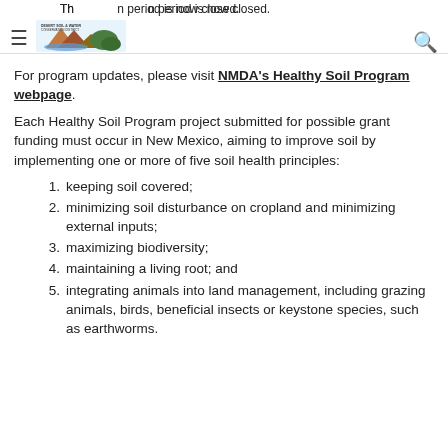The consultation period is now closed.
For program updates, please visit NMDA's Healthy Soil Program webpage.
Each Healthy Soil Program project submitted for possible grant funding must occur in New Mexico, aiming to improve soil by implementing one or more of five soil health principles:
keeping soil covered;
minimizing soil disturbance on cropland and minimizing external inputs;
maximizing biodiversity;
maintaining a living root; and
integrating animals into land management, including grazing animals, birds, beneficial insects or keystone species, such as earthworms.